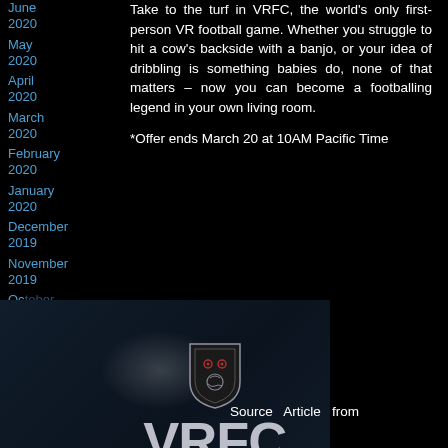June 2020
May 2020
April 2020
March 2020
February 2020
January 2020
December 2019
November 2019
October 2019
September 2019
August 2019
Take to the turf in VRFC, the world's only first-person VR football game. Whether you struggle to hit a cow's backside with a banjo, or your idea of dribbling is something babies do, none of that matters – now you can become a footballing legend in your own living room.
*Offer ends March 20 at 10AM Pacific Time
[Figure (logo): VRFC Virtual Reality Football Club logo with badge and large VRFC letters on dark background]
Source Article from